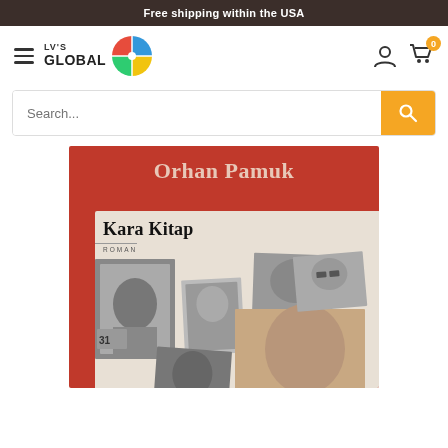Free shipping within the USA
[Figure (logo): LV'S GLOBAL logo with colorful pinwheel icon]
Search...
[Figure (photo): Book cover of 'Kara Kitap' by Orhan Pamuk. Red cover with author name at top and collage of black-and-white photographs on the inner panel. Labeled ROMAN.]